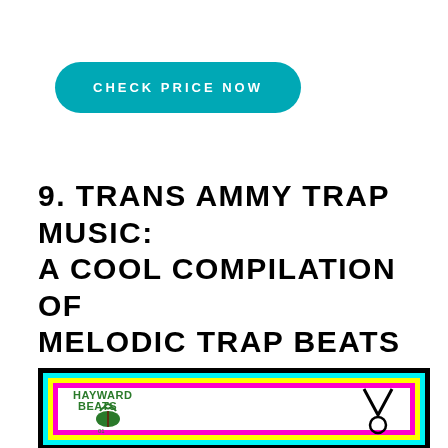CHECK PRICE NOW
9. TRANS AMMY TRAP MUSIC: A COOL COMPILATION OF MELODIC TRAP BEATS FOR RAPPERS AND SINGERS THAT SOUND SO DELICIOUS !!
[Figure (illustration): Album cover for Hayward Beats with colorful nested border (black, cyan, yellow, magenta) and white interior showing the Hayward Beats logo and a V/volume symbol]